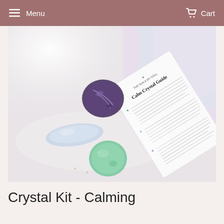Menu  Cart
[Figure (photo): Flat lay photo showing three tumbled crystals (dark purple amethyst, pale blue angelite, mint green aventurine) on a white surface beside a 'Calm Crystal Guide' booklet from The Sun & My Soul brand, with pastel pink and iridescent wrapping paper in the background and gold star confetti.]
Crystal Kit - Calming